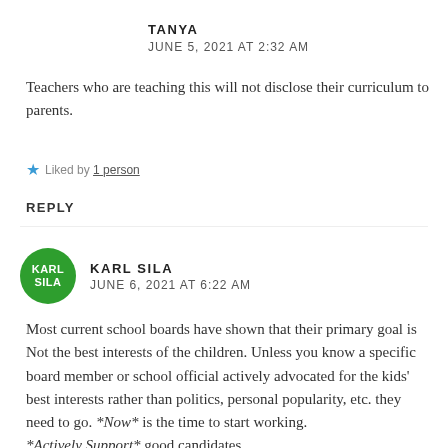TANYA
JUNE 5, 2021 AT 2:32 AM
Teachers who are teaching this will not disclose their curriculum to parents.
★ Liked by 1 person
REPLY
KARL SILA
JUNE 6, 2021 AT 6:22 AM
Most current school boards have shown that their primary goal is Not the best interests of the children. Unless you know a specific board member or school official actively advocated for the kids' best interests rather than politics, personal popularity, etc. they need to go. *Now* is the time to start working.
*Actively Support* good candidates.